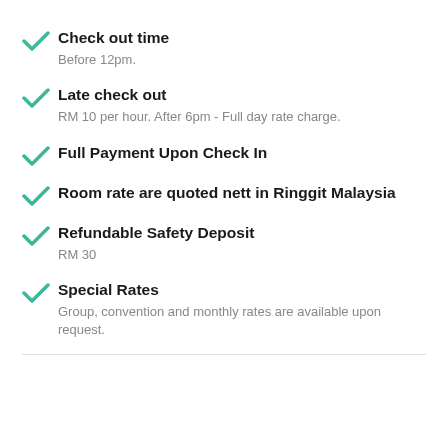Check out time
Before 12pm.
Late check out
RM 10 per hour. After 6pm - Full day rate charge.
Full Payment Upon Check In
Room rate are quoted nett in Ringgit Malaysia
Refundable Safety Deposit
RM 30
Special Rates
Group, convention and monthly rates are available upon request.